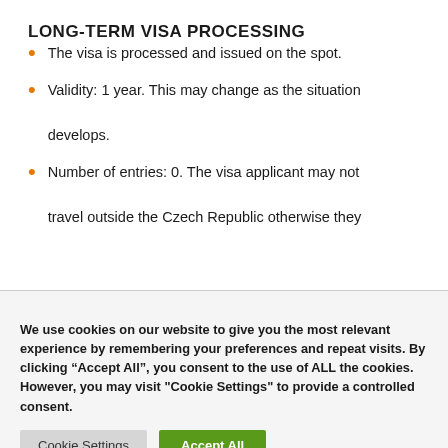LONG-TERM VISA PROCESSING
The visa is processed and issued on the spot.
Validity: 1 year. This may change as the situation develops.
Number of entries: 0. The visa applicant may not travel outside the Czech Republic otherwise they
We use cookies on our website to give you the most relevant experience by remembering your preferences and repeat visits. By clicking “Accept All”, you consent to the use of ALL the cookies. However, you may visit "Cookie Settings" to provide a controlled consent.